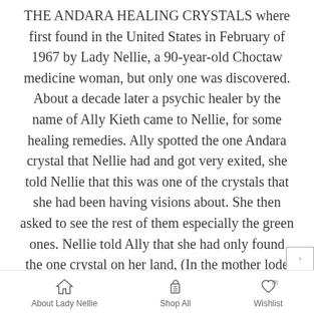THE ANDARA HEALING CRYSTALS where first found in the United States in February of 1967 by Lady Nellie, a 90-year-old Choctaw medicine woman, but only one was discovered. About a decade later a psychic healer by the name of Ally Kieth came to Nellie, for some healing remedies. Ally spotted the one Andara crystal that Nellie had and got very exited, she told Nellie that this was one of the crystals that she had been having visions about. She then asked to see the rest of them especially the green ones. Nellie told Ally that she had only found the one crystal on her land, (In the mother lode in Northern California). Ally urged Nellie to go on her land to look fo...
About Lady Nellie   Shop All   Wishlist (0)